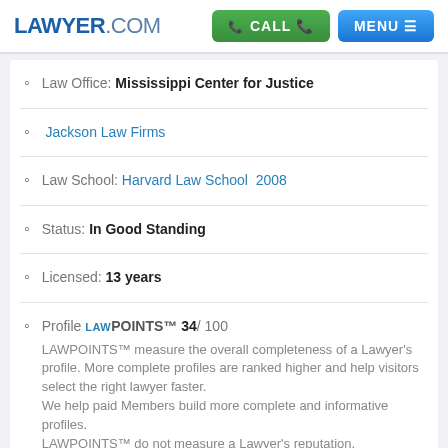LAWYER.COM | CALL | MENU
Law Office: Mississippi Center for Justice
Jackson Law Firms
Law School: Harvard Law School 2008
Status: In Good Standing
Licensed: 13 years
Profile LAWPOINTS™ 34/ 100 LAWPOINTS™ measure the overall completeness of a Lawyer's profile. More complete profiles are ranked higher and help visitors select the right lawyer faster. We help paid Members build more complete and informative profiles. LAWPOINTS™ do not measure a Lawyer's reputation. More Info for Lawyers